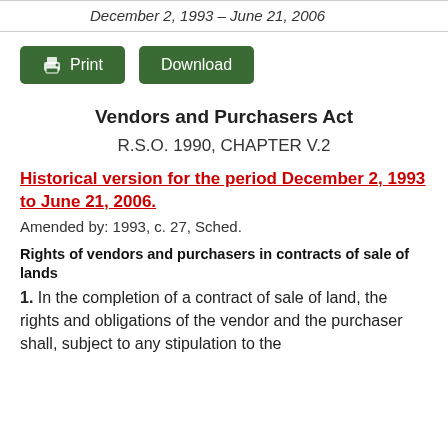December 2, 1993 – June 21, 2006
[Figure (other): Two green buttons: Print and Download]
Vendors and Purchasers Act
R.S.O. 1990, CHAPTER V.2
Historical version for the period December 2, 1993 to June 21, 2006.
Amended by: 1993, c. 27, Sched.
Rights of vendors and purchasers in contracts of sale of lands
1. In the completion of a contract of sale of land, the rights and obligations of the vendor and the purchaser shall, subject to any stipulation to the